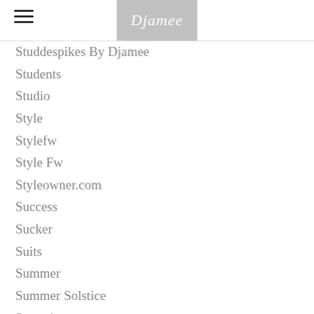Djamee
Studdespikes By Djamee
Students
Studio
Style
Stylefw
Style Fw
Styleowner.com
Success
Sucker
Suits
Summer
Summer Solstice
Summit
Super Affiliate
Superbowl
Superinflation
Super Niche New Site By Djamee